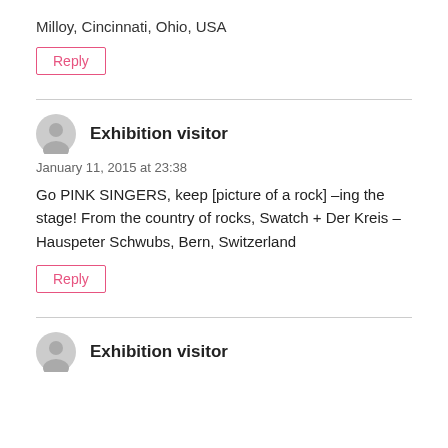Milloy, Cincinnati, Ohio, USA
Reply
Exhibition visitor
January 11, 2015 at 23:38
Go PINK SINGERS, keep [picture of a rock] –ing the stage! From the country of rocks, Swatch + Der Kreis – Hauspeter Schwubs, Bern, Switzerland
Reply
Exhibition visitor